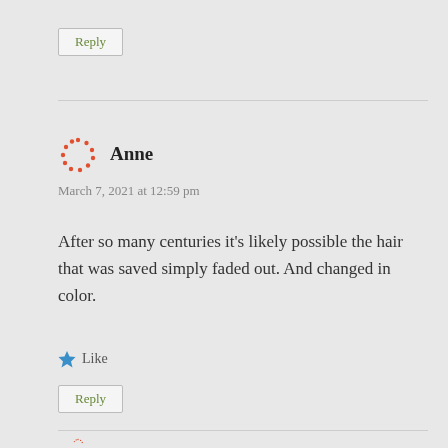Reply
Anne
March 7, 2021 at 12:59 pm
After so many centuries it’s likely possible the hair that was saved simply faded out. And changed in color.
Like
Reply